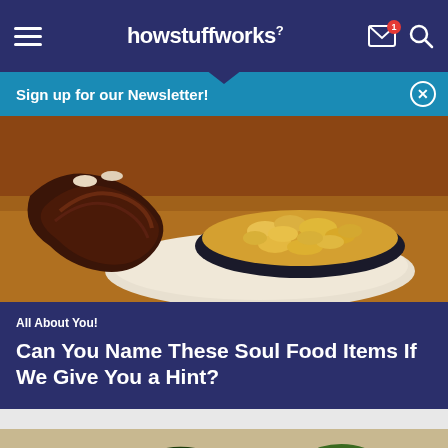howstuffworks
Sign up for our Newsletter!
[Figure (photo): A bowl of creamy mac and cheese with BBQ ribs in the background on a wooden surface]
All About You!
Can You Name These Soul Food Items If We Give You a Hint?
[Figure (photo): A plate of collard greens with beans and other vegetables]